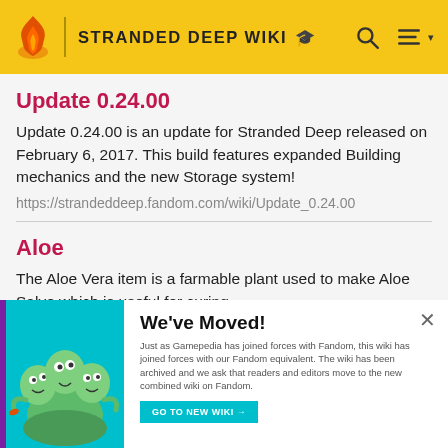STRANDED DEEP WIKI
Update 0.24.00
Update 0.24.00 is an update for Stranded Deep released on February 6, 2017. This build features expanded Building mechanics and the new Storage system!
https://strandeddeep.fandom.com/wiki/Update_0.24.00
Aloe
The Aloe Vera item is a farmable plant used to make Aloe Salve which is useful for curing sunstroke/heatstroke/sunburn. It can also be consumed to cool down the user and prevent heatstroke, but
https://strandeddeep.fandom.com/wiki/Aloe
[Figure (illustration): We've Moved popup with cartoon creature illustration on teal background]
We've Moved!
Just as Gamepedia has joined forces with Fandom, this wiki has joined forces with our Fandom equivalent. The wiki has been archived and we ask that readers and editors move to the new combined wiki on Fandom.
GO TO NEW WIKI →